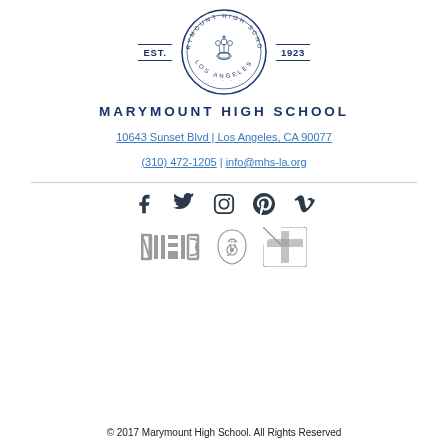[Figure (logo): Marymount High School circular seal with EST. 1923 flanking decorative lines]
MARYMOUNT HIGH SCHOOL
10643 Sunset Blvd | Los Angeles, CA 90077
(310) 472-1205 | info@mhs-la.org
[Figure (infographic): Social media icons row: Facebook, Twitter, Instagram, Pinterest, Vimeo]
[Figure (logo): Affiliation logos: NAIS, CJS (stylized), and a cross/T logo]
© 2017 Marymount High School. All Rights Reserved